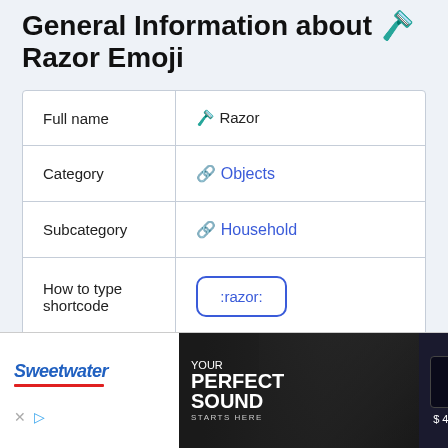General Information about 🪒 Razor Emoji
|  |  |
| --- | --- |
| Full name | 🪒 Razor |
| Category | 🔗 Objects |
| Subcategory | 🔗 Household |
| How to type shortcode | :razor: |
[Figure (photo): Sweetwater advertisement banner showing 'Your Perfect Sound Starts Here' with headphones and audio equipment, price $49.00]